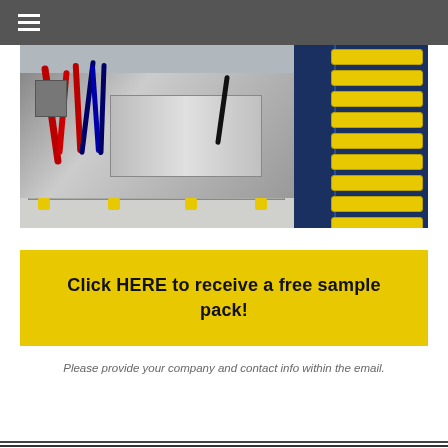≡
[Figure (photo): Two industrial photos side by side: left shows an injection mold or machine tool with red and blue hydraulic/electrical cables and yellow leveling feet on a base plate; right shows a rack or column with yellow industrial connectors or cable end-caps.]
Click HERE to receive a free sample pack!
Please provide your company and contact info within the email.